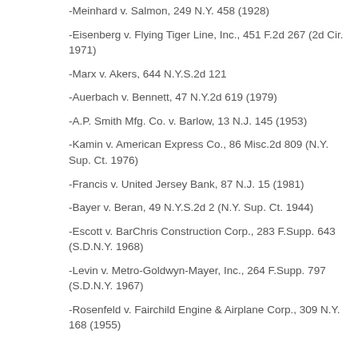-Meinhard v. Salmon, 249 N.Y. 458 (1928)
-Eisenberg v. Flying Tiger Line, Inc., 451 F.2d 267 (2d Cir. 1971)
-Marx v. Akers, 644 N.Y.S.2d 121
-Auerbach v. Bennett, 47 N.Y.2d 619 (1979)
-A.P. Smith Mfg. Co. v. Barlow, 13 N.J. 145 (1953)
-Kamin v. American Express Co., 86 Misc.2d 809 (N.Y. Sup. Ct. 1976)
-Francis v. United Jersey Bank, 87 N.J. 15 (1981)
-Bayer v. Beran, 49 N.Y.S.2d 2 (N.Y. Sup. Ct. 1944)
-Escott v. BarChris Construction Corp., 283 F.Supp. 643 (S.D.N.Y. 1968)
-Levin v. Metro-Goldwyn-Mayer, Inc., 264 F.Supp. 797 (S.D.N.Y. 1967)
-Rosenfeld v. Fairchild Engine & Airplane Corp., 309 N.Y. 168 (1955)